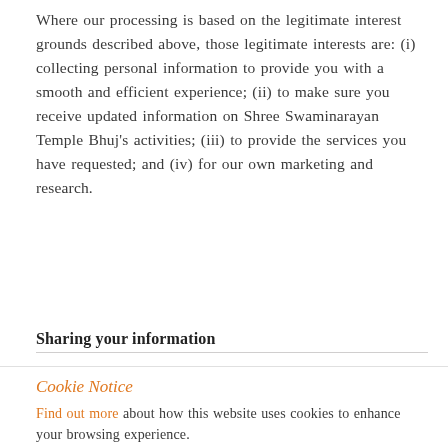Where our processing is based on the legitimate interest grounds described above, those legitimate interests are: (i) collecting personal information to provide you with a smooth and efficient experience; (ii) to make sure you receive updated information on Shree Swaminarayan Temple Bhuj's activities; (iii) to provide the services you have requested; and (iv) for our own marketing and research.
Sharing your information
Cookie Notice
Find out more about how this website uses cookies to enhance your browsing experience.
ACCEPT COOKIES